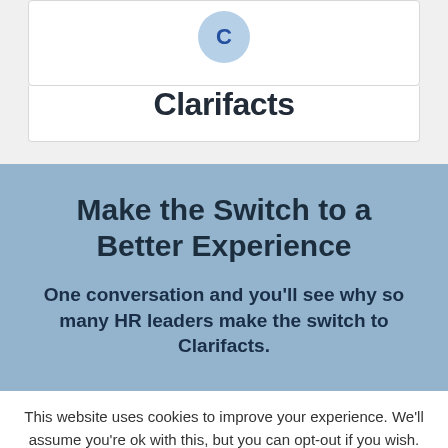Clarifacts
Make the Switch to a Better Experience
One conversation and you'll see why so many HR leaders make the switch to Clarifacts.
This website uses cookies to improve your experience. We'll assume you're ok with this, but you can opt-out if you wish.
Cookie settings   ACCEPT